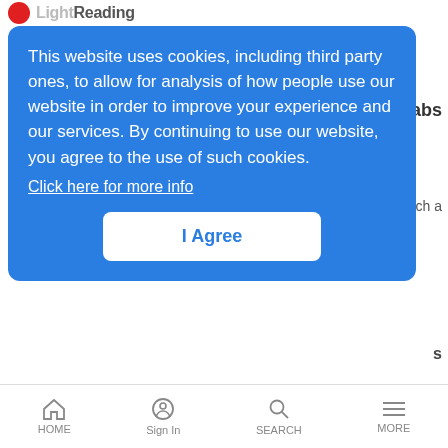[Figure (screenshot): Light Reading website logo with red circle icon and site name partially visible]
This website uses cookies, including third party ones, to allow for analysis of how people use our website in order to improve your experience and our services. By continuing to use our website, you agree to the use of such cookies. Click here for more info
I Agree
CES 2011: Photos From the Show Floor
Slide Shows | 1/12/2011
We're putting a bow on our CES show coverage with a few more photos -- old and new -- from all the show floor craziness
Bite Into Our CDMA iPhone Coverage
LR Mobile News Analysis | 1/12/2011
HOME   Sign In   SEARCH   MORE